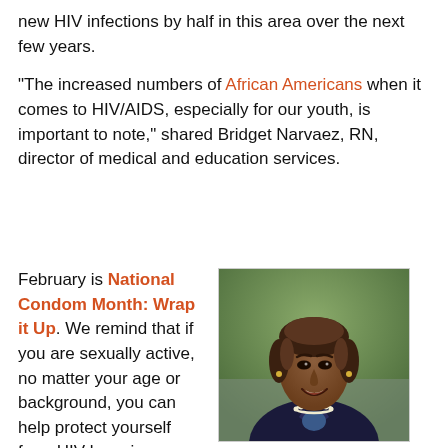new HIV infections by half in this area over the next few years.
“The increased numbers of African Americans when it comes to HIV/AIDS, especially for our youth, is important to note,” shared Bridget Narvaez, RN, director of medical and education services.
February is National Condom Month: Wrap it Up. We remind that if you are sexually active, no matter your age or background, you can help protect yourself from HIV by using condoms.
[Figure (photo): Portrait photo of Bridget Narvaez, RN, a woman wearing a dark blazer and pearl necklace, smiling, photographed outdoors with a blurred green background.]